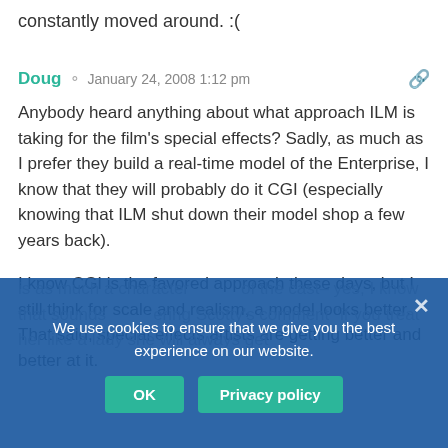constantly moved around. :(
Doug  January 24, 2008 1:12 pm
Anybody heard anything about what approach ILM is taking for the film's special effects? Sadly, as much as I prefer they build a real-time model of the Enterprise, I know that they will probably do it CGI (especially knowing that ILM shut down their model shop a few years back).
I know CGI is the favored approach these days, but I still think for scale and realism, a model looks better. That said, special effects artists are getting better and better at it.
We use cookies to ensure that we give you the best experience on our website.
is as much a character as any of the cast– yes, I know that sounds like remembering Scotty's comment "if you treat her like a lady she will always get